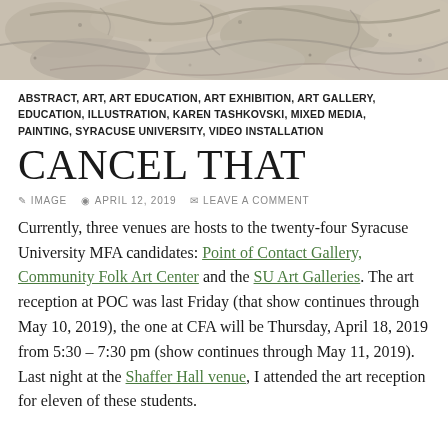[Figure (photo): Close-up photograph of light gray/beige textured rock or stone surface with crevices and granular detail]
ABSTRACT, ART, ART EDUCATION, ART EXHIBITION, ART GALLERY, EDUCATION, ILLUSTRATION, KAREN TASHKOVSKI, MIXED MEDIA, PAINTING, SYRACUSE UNIVERSITY, VIDEO INSTALLATION
CANCEL THAT
IMAGE   APRIL 12, 2019   LEAVE A COMMENT
Currently, three venues are hosts to the twenty-four Syracuse University MFA candidates: Point of Contact Gallery, Community Folk Art Center and the SU Art Galleries. The art reception at POC was last Friday (that show continues through May 10, 2019), the one at CFA will be Thursday, April 18, 2019 from 5:30 – 7:30 pm (show continues through May 11, 2019). Last night at the Shaffer Hall venue, I attended the art reception for eleven of these students.